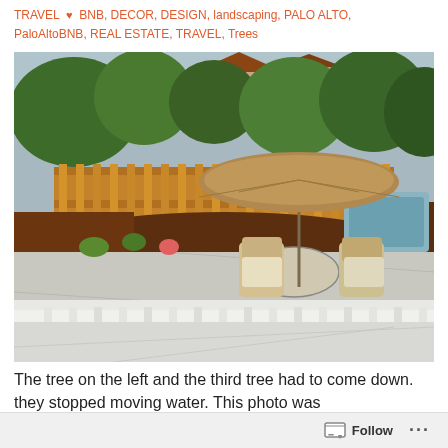TRAVEL ♥ BNB, DECOR, DESIGN, landscaping, PALO ALTO, PaloAltoBNB, REAL ESTATE, TRAVEL, Trees
[Figure (photo): Backyard patio scene viewed from a deck with white railing in the foreground. Concrete patio area with outdoor furniture including wicker chairs and a glass-top table with a large tan umbrella. Landscaped garden beds with mulch and small plants along the sides. Wooden fence in the background with large green trees and houses visible beyond. Blue sky partially visible.]
The tree on the left and the third tree had to come down. they stopped moving water. This photo was